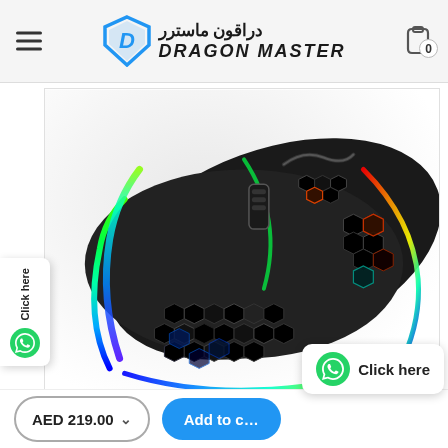Dragon Master | دراقون ماسترر
[Figure (photo): Close-up product photo of a black honeycomb/hexagonal pattern gaming mouse with multicolor RGB LED lighting illuminating the edges and holes, including blue, green, teal, orange, and red colors, on a white background.]
AED 219.00
Add to cart